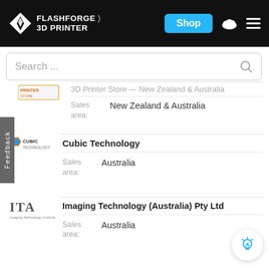FLASHFORGE 3D PRINTER — Shop
Search ...
3D Printer Store — New Zealand & Australia
Sales area: New Zealand & Australia
Cubic Technology
Sales area: Australia
Imaging Technology (Australia) Pty Ltd
Sales area: Australia